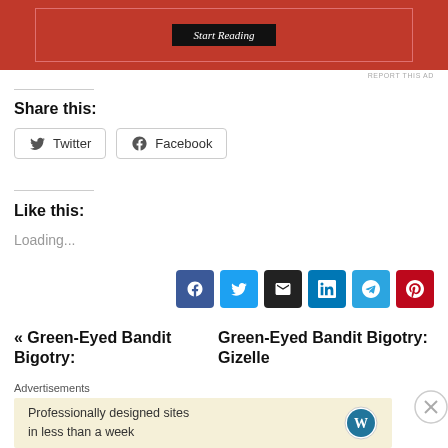[Figure (screenshot): Red advertisement banner with 'Start Reading' button]
REPORT THIS AD
Share this:
[Figure (infographic): Twitter and Facebook share buttons]
Like this:
Loading...
[Figure (infographic): Social share icons: Facebook, Twitter, Email, LinkedIn, Telegram, Pinterest]
« Green-Eyed Bandit Bigotry:
Green-Eyed Bandit Bigotry: Gizelle
Advertisements
[Figure (screenshot): WordPress advertisement: Professionally designed sites in less than a week]